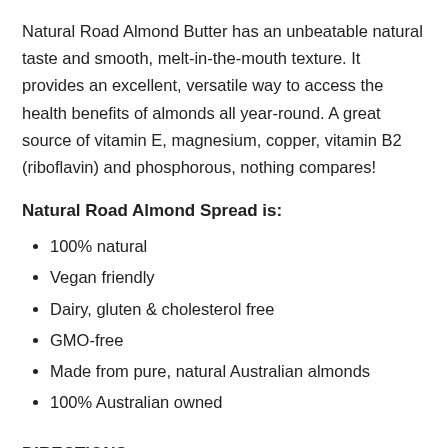Natural Road Almond Butter has an unbeatable natural taste and smooth, melt-in-the-mouth texture. It provides an excellent, versatile way to access the health benefits of almonds all year-round. A great source of vitamin E, magnesium, copper, vitamin B2 (riboflavin) and phosphorous, nothing compares!
Natural Road Almond Spread is:
100% natural
Vegan friendly
Dairy, gluten & cholesterol free
GMO-free
Made from pure, natural Australian almonds
100% Australian owned
DIRECTIONS
Ideal for use in pastes, dips and smoothies. Can also be used as